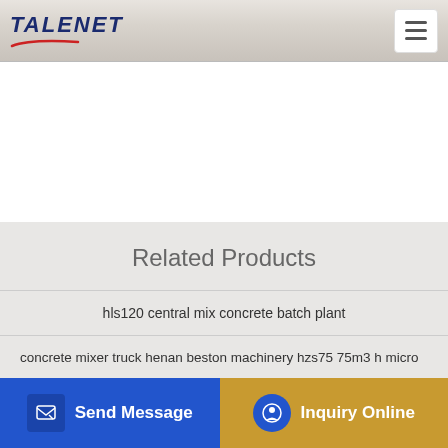TALENET
Related Products
hls120 central mix concrete batch plant
concrete mixer truck henan beston machinery hzs75 75m3 h micro
concrete plant machinery u... GOLD MINING
high quality mobile portable jbt20 concrete mixer with
[Figure (screenshot): Send Message and Inquiry Online buttons at the bottom of a product page on the Talenet website]